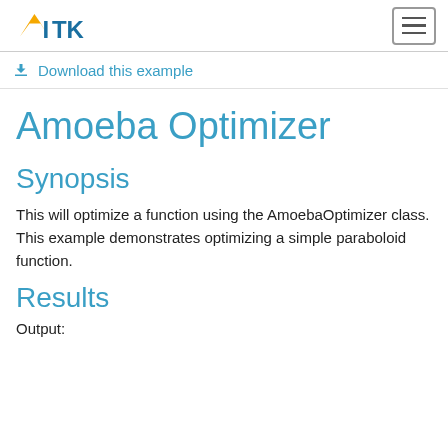ITK
Download this example
Amoeba Optimizer
Synopsis
This will optimize a function using the AmoebaOptimizer class. This example demonstrates optimizing a simple paraboloid function.
Results
Output: